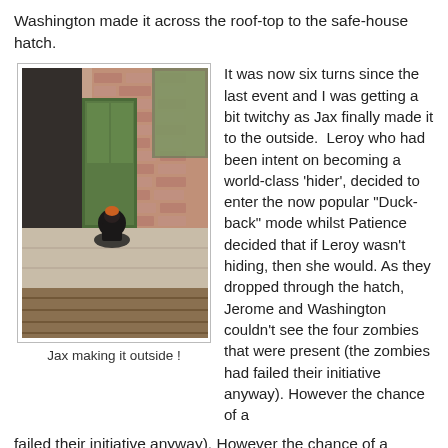Washington made it across the roof-top to the safe-house hatch.
[Figure (photo): Miniature figure (Jax) positioned at the entry of a building doorway with brick walls visible, tabletop wargame scene]
Jax making it outside !
It was now six turns since the last event and I was getting a bit twitchy as Jax finally made it to the outside.  Leroy who had been intent on becoming a world-class 'hider', decided to enter the now popular "Duck-back" mode whilst Patience decided that if Leroy wasn't hiding, then she would. As they dropped through the hatch, Jerome and Washington couldn't see the four zombies that were present (the zombies had failed their initiative anyway). However the chance of a
failed their initiative anyway). However the chance of a